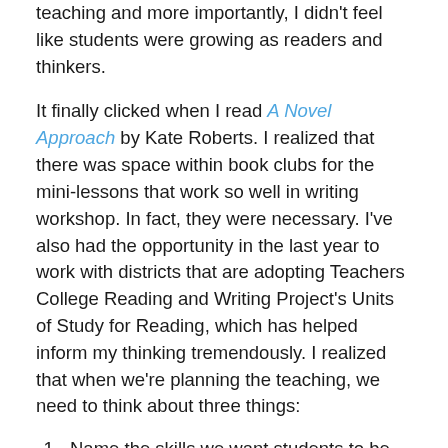teaching and more importantly, I didn't feel like students were growing as readers and thinkers.
It finally clicked when I read A Novel Approach by Kate Roberts. I realized that there was space within book clubs for the mini-lessons that work so well in writing workshop. In fact, they were necessary. I've also had the opportunity in the last year to work with districts that are adopting Teachers College Reading and Writing Project's Units of Study for Reading, which has helped inform my thinking tremendously. I realized that when we're planning the teaching, we need to think about three things:
Name the skills we want students to be able to do better. What's the unit's focus?
Find a short text we can use as a shared read (we've been using Pixar shorts, children's books, and short